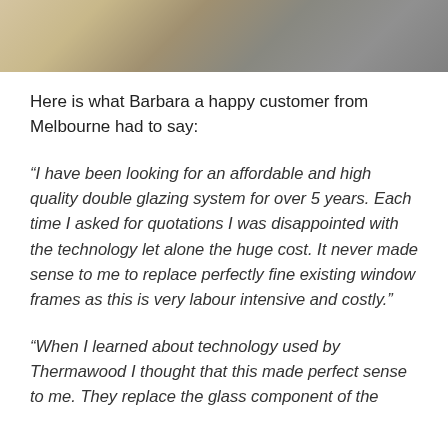[Figure (photo): Partial photo of wooden window frames or furniture pieces, tan/brown colored, on a grey surface. Only the bottom portion of the image is visible as it is cropped at the top.]
Here is what Barbara a happy customer from Melbourne had to say:
“I have been looking for an affordable and high quality double glazing system for over 5 years. Each time I asked for quotations I was disappointed with the technology let alone the huge cost. It never made sense to me to replace perfectly fine existing window frames as this is very labour intensive and costly.”
“When I learned about technology used by Thermawood I thought that this made perfect sense to me. They replace the glass component of the